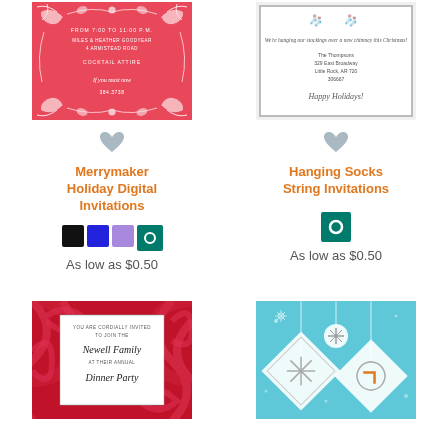[Figure (illustration): Merrymaker Holiday Digital Invitation card with red/coral background and white floral/swirl border design, white text]
[Figure (illustration): Hanging Socks String Invitations card with white background and gray border, script text about hanging stockings, Happy Holidays]
Merrymaker Holiday Digital Invitations
As low as $0.50
Hanging Socks String Invitations
As low as $0.50
[Figure (illustration): Red swirl pattern invitation card with white inner panel, script text Newell Family Dinner Party]
[Figure (illustration): Teal/blue background ornament invitation with hanging snowflake ornament designs in white]